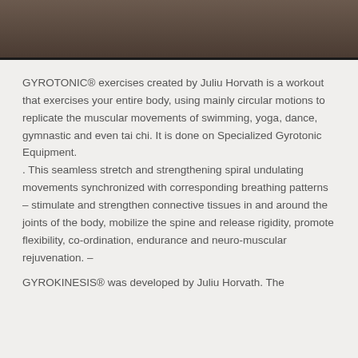[Figure (photo): Dark brownish-gray photo strip at the top of the page, showing a partial image with dark tones.]
GYROTONIC® exercises created by Juliu Horvath is a workout that exercises your entire body, using mainly circular motions to replicate the muscular movements of swimming, yoga, dance, gymnastic and even tai chi. It is done on Specialized Gyrotonic Equipment.
. This seamless stretch and strengthening spiral undulating movements synchronized with corresponding breathing patterns – stimulate and strengthen connective tissues in and around the joints of the body, mobilize the spine and release rigidity, promote flexibility, co-ordination, endurance and neuro-muscular rejuvenation. –
GYROKINESIS® was developed by Juliu Horvath. The